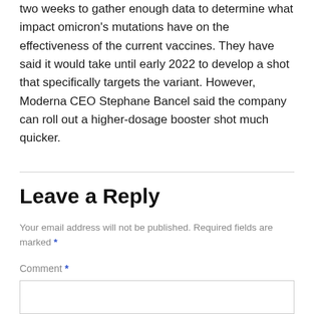two weeks to gather enough data to determine what impact omicron's mutations have on the effectiveness of the current vaccines. They have said it would take until early 2022 to develop a shot that specifically targets the variant. However, Moderna CEO Stephane Bancel said the company can roll out a higher-dosage booster shot much quicker.
Leave a Reply
Your email address will not be published. Required fields are marked *
Comment *